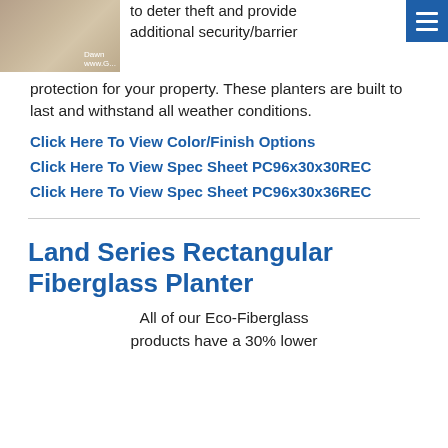[Figure (photo): A photo of stone or paver tiles with a watermark showing 'Dawn' and 'www.G...']
to deter theft and provide additional security/barrier protection for your property. These planters are built to last and withstand all weather conditions.
Click Here To View Color/Finish Options
Click Here To View Spec Sheet PC96x30x30REC
Click Here To View Spec Sheet PC96x30x36REC
Land Series Rectangular Fiberglass Planter
All of our Eco-Fiberglass products have a 30% lower